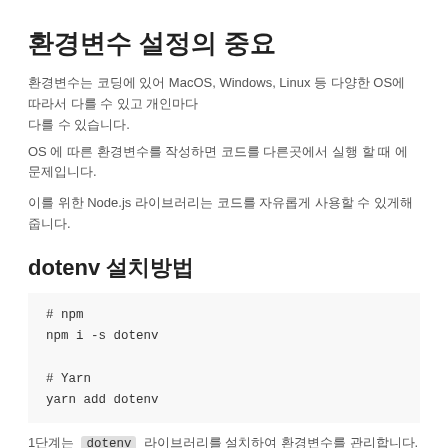환경변수 설정의 중요
환경변수는 코딩에 있어 MacOS, Windows, Linux 등 다양한 OS에 따라서 다를 수 있고 개인마다 다릅니다.
OS 에 따른 환경변수를 작성하면 코드를 다른곳에서 실행 할 때 에 문제입니다.
이를 위한 Node.js 라이브러리는 코드를 자유롭게 사용할 수 있게해줍니다.
dotenv 설치방법
# npm
npm i -s dotenv

# Yarn
yarn add dotenv
1단계는  dotenv  라이브러리를 설치하여 환경변수를 관리합니다.